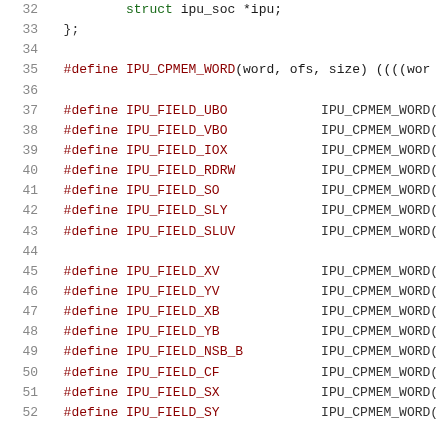Code listing lines 32–52: C preprocessor definitions for IPU CPMEM fields
32    struct ipu_soc *ipu;
33  };
34
35  #define IPU_CPMEM_WORD(word, ofs, size) ((((wor
36
37  #define IPU_FIELD_UBO    IPU_CPMEM_WORD(
38  #define IPU_FIELD_VBO    IPU_CPMEM_WORD(
39  #define IPU_FIELD_IOX    IPU_CPMEM_WORD(
40  #define IPU_FIELD_RDRW   IPU_CPMEM_WORD(
41  #define IPU_FIELD_SO     IPU_CPMEM_WORD(
42  #define IPU_FIELD_SLY    IPU_CPMEM_WORD(
43  #define IPU_FIELD_SLUV   IPU_CPMEM_WORD(
44
45  #define IPU_FIELD_XV     IPU_CPMEM_WORD(
46  #define IPU_FIELD_YV     IPU_CPMEM_WORD(
47  #define IPU_FIELD_XB     IPU_CPMEM_WORD(
48  #define IPU_FIELD_YB     IPU_CPMEM_WORD(
49  #define IPU_FIELD_NSB_B  IPU_CPMEM_WORD(
50  #define IPU_FIELD_CF     IPU_CPMEM_WORD(
51  #define IPU_FIELD_SX     IPU_CPMEM_WORD(
52  #define IPU_FIELD_SY     IPU_CPMEM_WORD(